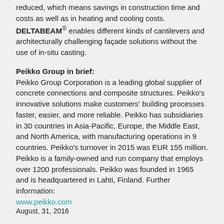reduced, which means savings in construction time and costs as well as in heating and cooling costs. DELTABEAM® enables different kinds of cantilevers and architecturally challenging façade solutions without the use of in-situ casting.
Peikko Group in brief:
Peikko Group Corporation is a leading global supplier of concrete connections and composite structures. Peikko's innovative solutions make customers' building processes faster, easier, and more reliable. Peikko has subsidiaries in 30 countries in Asia-Pacific, Europe, the Middle East, and North America, with manufacturing operations in 9 countries. Peikko's turnover in 2015 was EUR 155 million. Peikko is a family-owned and run company that employs over 1200 professionals. Peikko was founded in 1965 and is headquartered in Lahti, Finland. Further information: www.peikko.com
August, 31, 2016